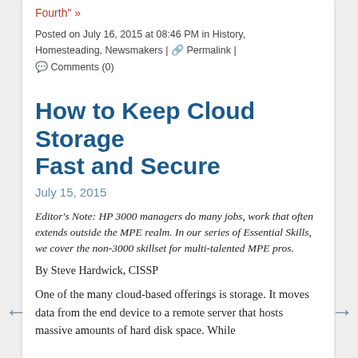Fourth" »
Posted on July 16, 2015 at 08:46 PM in History, Homesteading, Newsmakers | 🔗 Permalink | 💬 Comments (0)
How to Keep Cloud Storage Fast and Secure
July 15, 2015
Editor's Note: HP 3000 managers do many jobs, work that often extends outside the MPE realm. In our series of Essential Skills, we cover the non-3000 skillset for multi-talented MPE pros.
By Steve Hardwick, CISSP
One of the many cloud-based offerings is storage. It moves data from the end device to a remote server that hosts massive amounts of hard disk space. While